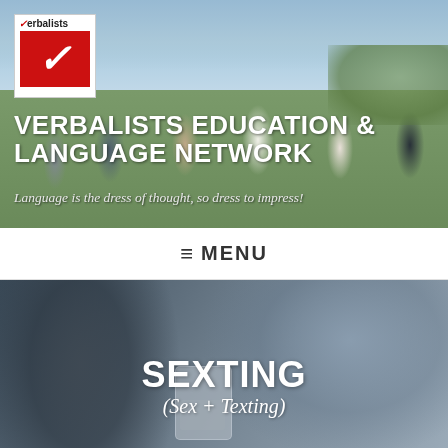[Figure (photo): Group of young people wearing red headbands running outdoors on a field with trees in background. Verbalists logo (red box with white checkmark) in top-left corner.]
VERBALISTS EDUCATION & LANGUAGE NETWORK
Language is the dress of thought, so dress to impress!
≡ MENU
[Figure (photo): Close-up blurred photo of person holding a mobile phone, dark and muted tones.]
SEXTING
(Sex + Texting)